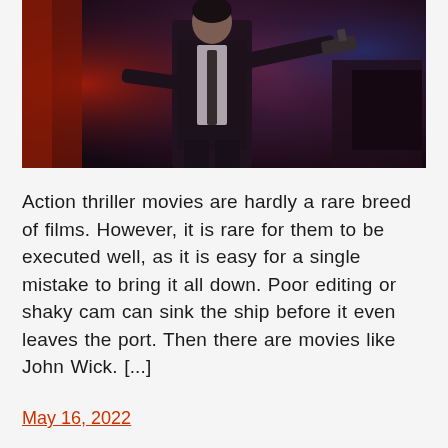[Figure (photo): A man in a dark suit holding a gun in an action pose, with dramatic red and blue lighting in a dark environment. Action movie still.]
Action thriller movies are hardly a rare breed of films. However, it is rare for them to be executed well, as it is easy for a single mistake to bring it all down. Poor editing or shaky cam can sink the ship before it even leaves the port. Then there are movies like John Wick. [...]
May 16, 2022